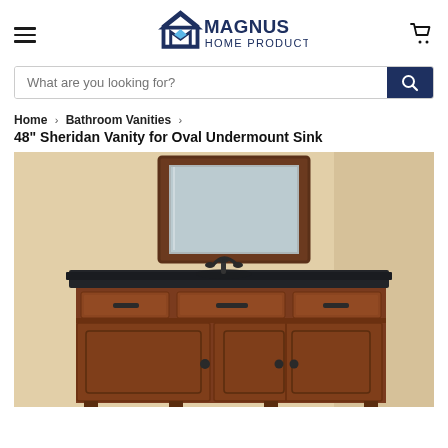[Figure (logo): Magnus Home Products logo with house icon and stylized M]
What are you looking for?
Home > Bathroom Vanities > 48" Sheridan Vanity for Oval Undermount Sink
48" Sheridan Vanity for Oval Undermount Sink
[Figure (photo): 48 inch Sheridan bathroom vanity in cherry/walnut wood finish with black granite countertop, undermount oval sink, dark faucet, three drawers across top, two cabinet doors with panel detail, and a mirror hanging above in matching wood frame. Background is a warm beige/tan wall.]